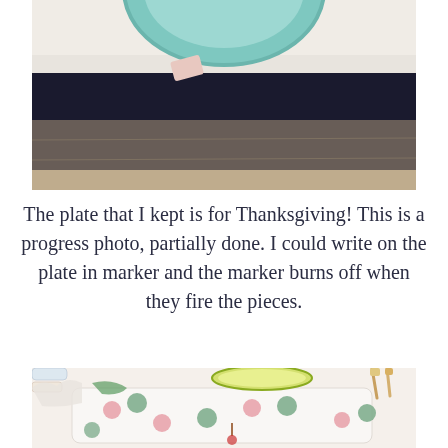[Figure (photo): A teal/turquoise circular plate partially visible at top, with a person's hand or arm resting near a white table surface and dark clothing, on a wooden floor background.]
The plate that I kept is for Thanksgiving! This is a progress photo, partially done. I could write on the plate in marker and the marker burns off when they fire the pieces.
[Figure (photo): A pottery painting workspace showing a white ceramic platter decorated with pink and green polka dots and a small apple or cherry motif, alongside paint tubes, brushes, and a yellow-green bowl.]